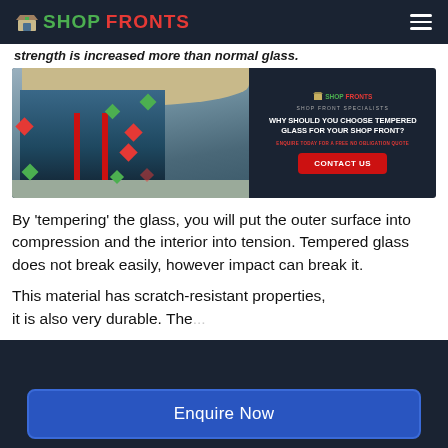SHOPFRONTS
strength is increased more than normal glass.
[Figure (photo): Shop front photo showing a commercial building with glass facade and tempered glass shopfront, alongside a dark promotional banner reading WHY SHOULD YOU CHOOSE TEMPERED GLASS FOR YOUR SHOP FRONT? with a CONTACT US button]
By 'tempering' the glass, you will put the outer surface into compression and the interior into tension. Tempered glass does not break easily, however impact can break it.
This material has scratch-resistant properties, it is also very durable. The...
Enquire Now